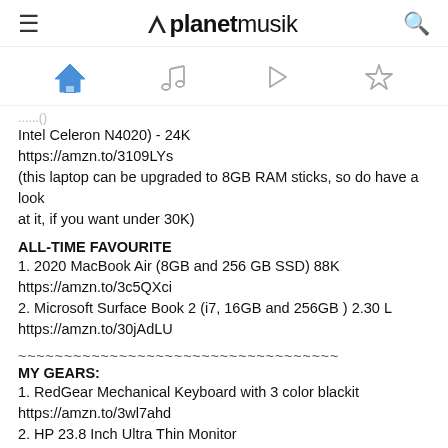≡  planetmusik  🔍
[Figure (infographic): Navigation icons: home (blue filled), music note (gray outline), play button triangle (gray outline), star (gray outline)]
...​(full text truncated)...Intel Celeron N4020) - 24K
https://amzn.to/3109LYs
(this laptop can be upgraded to 8GB RAM sticks, so do have a look
at it, if you want under 30K)
ALL-TIME FAVOURITE
1. 2020 MacBook Air (8GB and 256 GB SSD) 88K
https://amzn.to/3c5QXci
2. Microsoft Surface Book 2 (i7, 16GB and 256GB ) 2.30 L
https://amzn.to/30jAdLU
~~~~~~~~~~~~~~~~~~~~~~~~~~~~~~~~~~~
MY GEARS:
1. RedGear Mechanical Keyboard with 3 color blackit
https://amzn.to/3wl7ahd
2. HP 23.8 Inch Ultra Thin Monitor